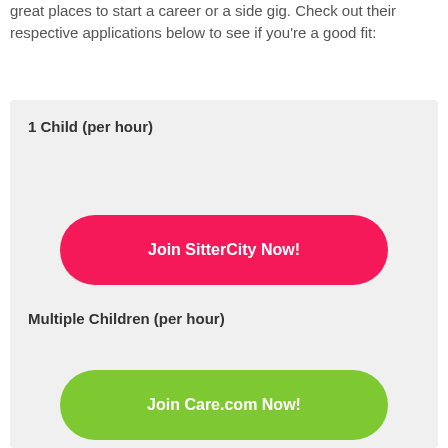great places to start a career or a side gig. Check out their respective applications below to see if you're a good fit:
1 Child (per hour)
Join SitterCity Now!
Multiple Children (per hour)
Join Care.com Now!